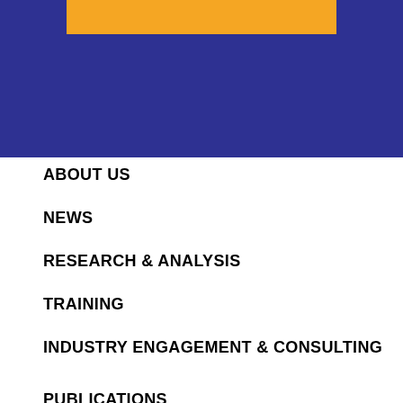[Figure (other): Blue header banner with a yellow/orange rectangle at the top center]
ABOUT US
NEWS
RESEARCH & ANALYSIS
TRAINING
INDUSTRY ENGAGEMENT & CONSULTING
PUBLICATIONS
MEDIA CENTRE